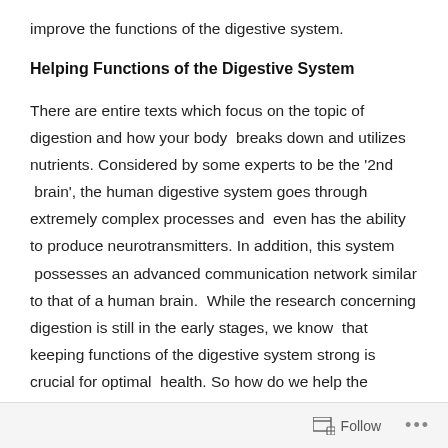improve the functions of the digestive system.
Helping Functions of the Digestive System
There are entire texts which focus on the topic of digestion and how your body  breaks down and utilizes nutrients. Considered by some experts to be the '2nd  brain', the human digestive system goes through extremely complex processes and  even has the ability to produce neurotransmitters. In addition, this system  possesses an advanced communication network similar to that of a human brain.  While the research concerning digestion is still in the early stages, we know  that keeping functions of the digestive system strong is crucial for optimal  health. So how do we help the digestive system to be strong?
Follow ...